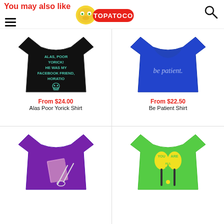You may also like — TOPATOCO
[Figure (illustration): Black fitted t-shirt with teal text reading 'ALAS, POOR YORICK! HE WAS MY FACEBOOK FRIEND. HORATIO' and a skull illustration]
From $24.00
Alas Poor Yorick Shirt
[Figure (illustration): Blue t-shirt with light blue text reading 'be patient.']
From $22.50
Be Patient Shirt
[Figure (illustration): Purple t-shirt with a knitting design showing needles and yarn in pink/white]
[Figure (illustration): Green t-shirt with yellow paddle/oar shapes and text 'YOU ARE ALL TOO TALL']